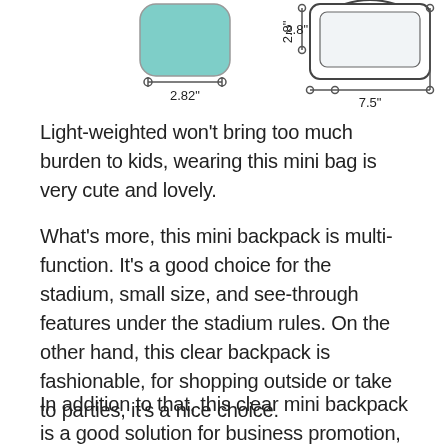[Figure (engineering-diagram): Product dimension diagrams showing two items: a teal/mint colored mini bag with measurement 2.82" width, and a clear/transparent backpack with measurements 2.8" height and 7.5" width, with annotation lines and circles indicating measurement points.]
Light-weighted won't bring too much burden to kids, wearing this mini bag is very cute and lovely.
What's more, this mini backpack is multi-function. It's a good choice for the stadium, small size, and see-through features under the stadium rules. On the other hand, this clear backpack is fashionable, for shopping outside or take to parties, it's a nice choice.
In addition to that, this clear mini backpack is a good solution for business promotion, custom